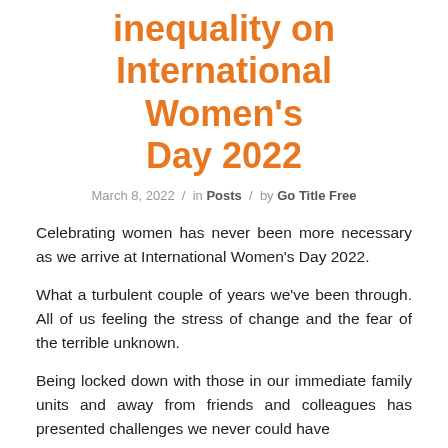inequality on International Women's Day 2022
March 8, 2022 / in Posts / by Go Title Free
Celebrating women has never been more necessary as we arrive at International Women's Day 2022.
What a turbulent couple of years we've been through. All of us feeling the stress of change and the fear of the terrible unknown.
Being locked down with those in our immediate family units and away from friends and colleagues has presented challenges we never could have